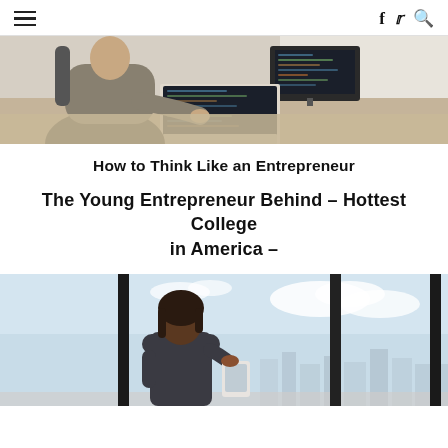≡  f  🐦  🔍
[Figure (photo): Person sitting at a desk working on a laptop and monitor, viewed from behind, casual workspace setting with natural light.]
How to Think Like an Entrepreneur
The Young Entrepreneur Behind – Hottest College in America –
[Figure (photo): Professional woman in a blazer holding a tablet, standing with her back to the camera, looking through large floor-to-ceiling windows at a city skyline. Image divided by dark vertical window frames.]